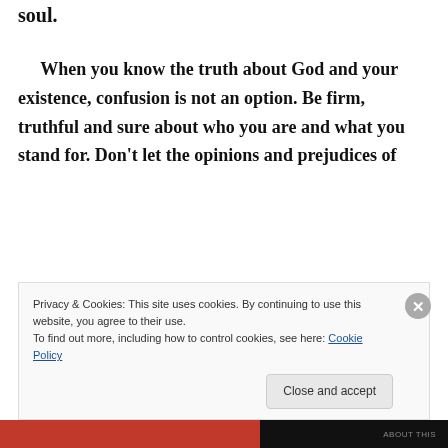soul.
When you know the truth about God and your existence, confusion is not an option. Be firm, truthful and sure about who you are and what you stand for. Don't let the opinions and prejudices of
Privacy & Cookies: This site uses cookies. By continuing to use this website, you agree to their use.
To find out more, including how to control cookies, see here: Cookie Policy
Close and accept